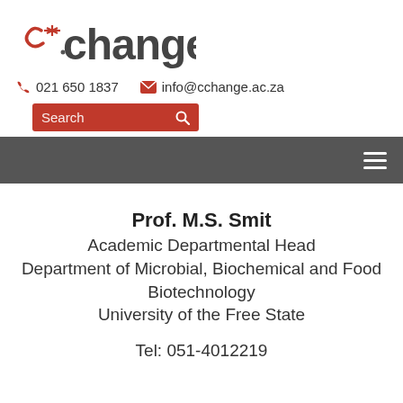[Figure (logo): cchange logo with red asterisk and dark gray text reading 'cchange']
021 650 1837   info@cchange.ac.za
Search
[Figure (other): Dark gray navigation bar with hamburger menu icon on the right]
Prof. M.S. Smit
Academic Departmental Head
Department of Microbial, Biochemical and Food Biotechnology
University of the Free State
Tel: 051-4012219